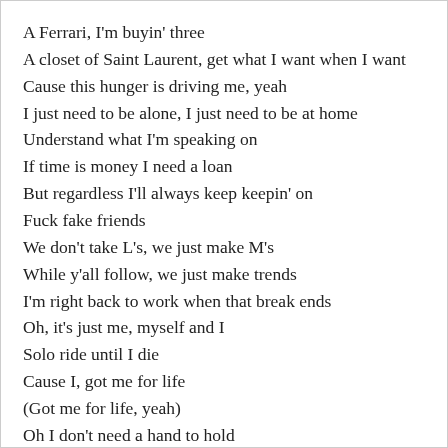A Ferrari, I'm buyin' three
A closet of Saint Laurent, get what I want when I want
Cause this hunger is driving me, yeah
I just need to be alone, I just need to be at home
Understand what I'm speaking on
If time is money I need a loan
But regardless I'll always keep keepin' on
Fuck fake friends
We don't take L's, we just make M's
While y'all follow, we just make trends
I'm right back to work when that break ends
Oh, it's just me, myself and I
Solo ride until I die
Cause I, got me for life
(Got me for life, yeah)
Oh I don't need a hand to hold
Even when the night is cold
I got that fire in my soul